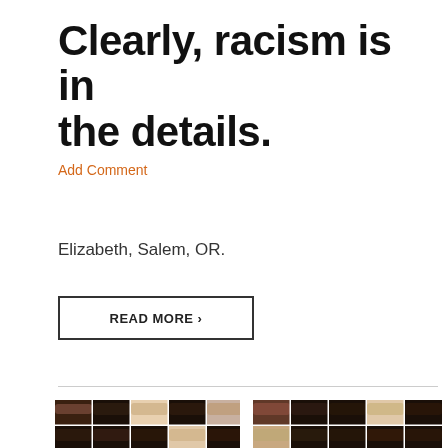Clearly, racism is in the details.
Add Comment
Elizabeth, Salem, OR.
READ MORE >
[Figure (photo): Yearbook photo strip showing rows of student portrait photos from what appears to be a 1970s-era high school yearbook, showing students of various races in two groups separated by a gap.]